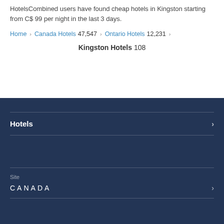HotelsCombined users have found cheap hotels in Kingston starting from C$ 99 per night in the last 3 days.
Home > Canada Hotels 47,547 > Ontario Hotels 12,231 >
Kingston Hotels 108
Hotels
Site
CANADA